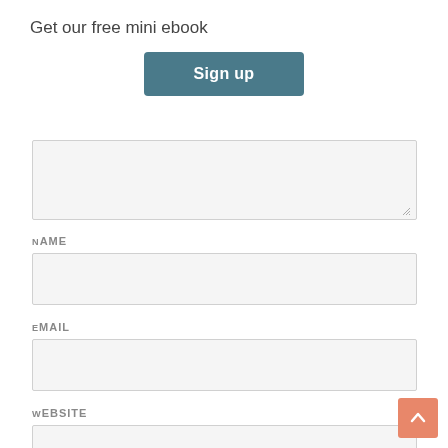×
Get our free mini ebook
Sign up
[Figure (screenshot): A partially visible textarea input field with a resize handle at the bottom right corner]
NAME
[Figure (screenshot): An empty text input field for Name]
EMAIL
[Figure (screenshot): An empty text input field for Email]
WEBSITE
[Figure (screenshot): An empty text input field for Website (partially visible)]